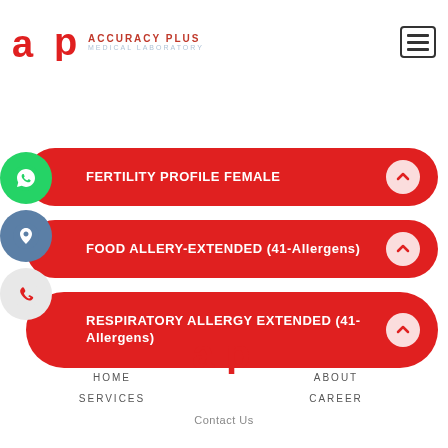[Figure (logo): Accuracy Plus Medical Laboratory logo with red 'ap' icon and text]
FERTILITY PROFILE FEMALE
FOOD ALLERY-EXTENDED (41-Allergens)
RESPIRATORY ALLERGY EXTENDED (41-Allergens)
[Figure (logo): Accuracy Plus red 'ap' footer logo]
HOME
ABOUT
SERVICES
CAREER
Contact Us